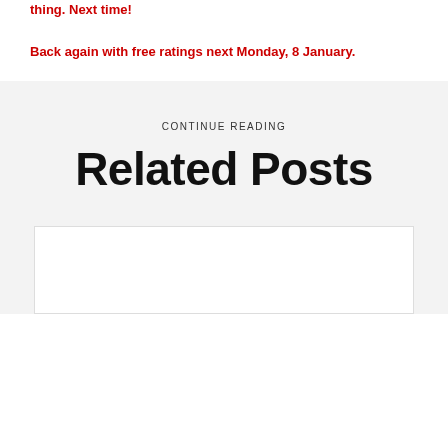thing.  Next time!
Back again with free ratings next Monday, 8 January.
CONTINUE READING
Related Posts
[Figure (other): White card/box placeholder for a related post]